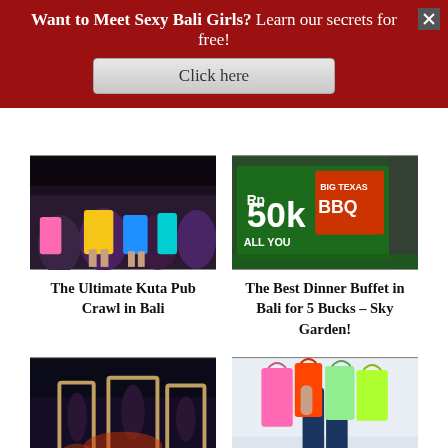Want to Meet Sexy Bali Girls? Learn our secrets for free!
Click here
[Figure (photo): Young women dancing at a nightclub in Kuta, Bali]
The Ultimate Kuta Pub Crawl in Bali
[Figure (photo): Big Texas BBQ sign showing Rp 50k All You Can Eat]
The Best Dinner Buffet in Bali for 5 Bucks – Sky Garden!
[Figure (photo): Performers at a Kuta entertainment venue with large decorative letters]
5 Best Things to See at Kuta in Bali
[Figure (photo): Person walking with colorful shopping bags at Kuta Beach]
7 Best Shopping Spots at Kuta Beach in Bali